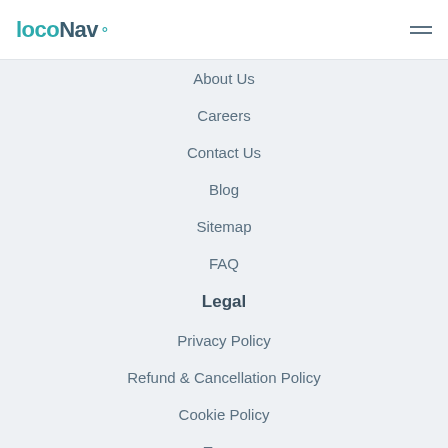LocoNav
About Us
Careers
Contact Us
Blog
Sitemap
FAQ
Legal
Privacy Policy
Refund & Cancellation Policy
Cookie Policy
Terms
Connect